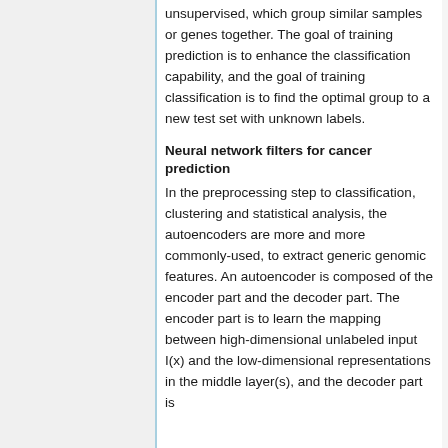unsupervised, which group similar samples or genes together. The goal of training prediction is to enhance the classification capability, and the goal of training classification is to find the optimal group to a new test set with unknown labels.
Neural network filters for cancer prediction
In the preprocessing step to classification, clustering and statistical analysis, the autoencoders are more and more commonly-used, to extract generic genomic features. An autoencoder is composed of the encoder part and the decoder part. The encoder part is to learn the mapping between high-dimensional unlabeled input I(x) and the low-dimensional representations in the middle layer(s), and the decoder part is